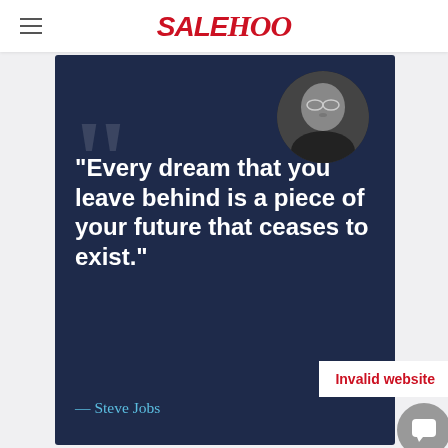SALEHOO
[Figure (illustration): Dark navy blue quote card with a large decorative opening quotation mark in the background. A circular black-and-white portrait photo of Steve Jobs appears in the upper right. A large bold white quote reads: "Every dream that you leave behind is a piece of your future that ceases to exist." Below in light blue: — Steve Jobs. A white banner in the lower right reads 'Invalid website' in red bold text.]